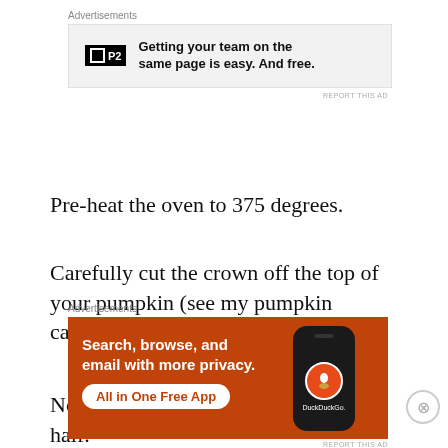[Figure (screenshot): P2 advertisement banner with text 'Getting your team on the same page is easy. And free.']
Pre-heat the oven to 375 degrees.
Carefully cut the crown off the top of your pumpkin (see my pumpkin carving post for more details).
Now carefully cut the pumpkin in half.
[Figure (screenshot): DuckDuckGo advertisement banner: 'Search, browse, and email with more privacy. All in One Free App']